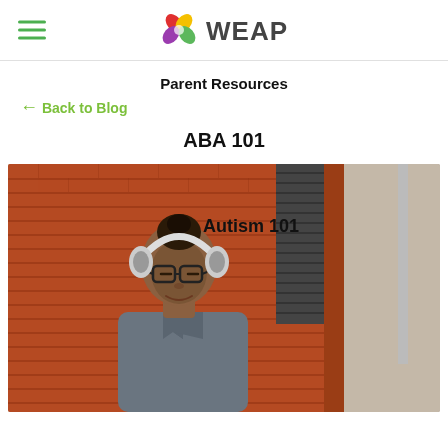WEAP
Parent Resources
← Back to Blog
ABA 101
[Figure (photo): A young Black woman wearing headphones and glasses, leaning against a brick wall with eyes closed, wearing a grey shirt. Text overlay reads 'Autism 101'.]